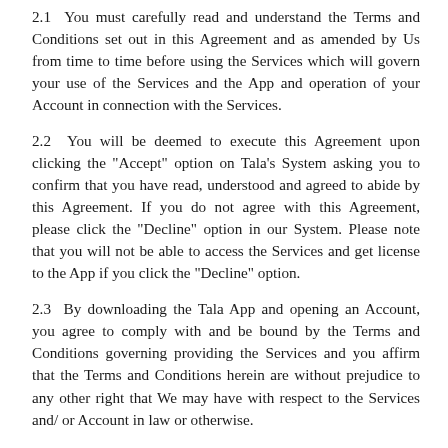2.1  You must carefully read and understand the Terms and Conditions set out in this Agreement and as amended by Us from time to time before using the Services which will govern your use of the Services and the App and operation of your Account in connection with the Services.
2.2  You will be deemed to execute this Agreement upon clicking the "Accept" option on Tala's System asking you to confirm that you have read, understood and agreed to abide by this Agreement. If you do not agree with this Agreement, please click the "Decline" option in our System. Please note that you will not be able to access the Services and get license to the App if you click the "Decline" option.
2.3  By downloading the Tala App and opening an Account, you agree to comply with and be bound by the Terms and Conditions governing providing the Services and you affirm that the Terms and Conditions herein are without prejudice to any other right that We may have with respect to the Services and/ or Account in law or otherwise.
2.4 .  This Agreement may be amended or varied from time to time and the continued use of the Services constitutes your agreement to be bound by the terms of any such amendment or variation. We will take all reasonable measures to notify you of any changes and such changes may be published.